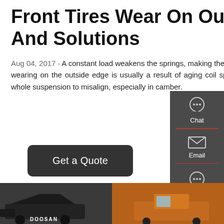Front Tires Wear On Outside Edge: Causes And Solutions
Aug 04, 2017 · A constant load weakens the springs, making them lose arch (leaf spring) or/and height (coil spring). Front tires wearing on the outside edge is usually a result of aging coil springs. As they lose height, so does the vehicle, causing the whole suspension to misalign, especially in camber.
Get a Quote
[Figure (screenshot): Sidebar with Chat, Email, and Contact buttons on dark grey background]
[Figure (photo): Bottom strip showing two construction/industrial vehicle images - a dark machine on the left (with DOOSAN text) and an orange vehicle on the right]